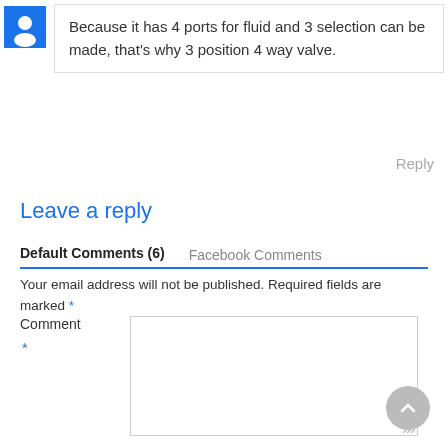Because it has 4 ports for fluid and 3 selection can be made, that's why 3 position 4 way valve.
Reply
Leave a reply
Default Comments (6)   Facebook Comments
Your email address will not be published. Required fields are marked *
Comment *